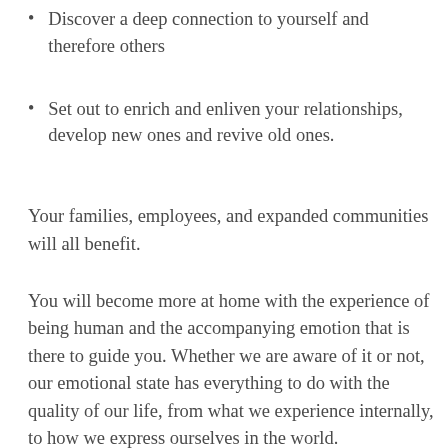Discover a deep connection to yourself and therefore others
Set out to enrich and enliven your relationships, develop new ones and revive old ones.
Your families, employees, and expanded communities will all benefit.
You will become more at home with the experience of being human and the accompanying emotion that is there to guide you. Whether we are aware of it or not, our emotional state has everything to do with the quality of our life, from what we experience internally, to how we express ourselves in the world.
It is easy to be receptive to positive emotions like peace